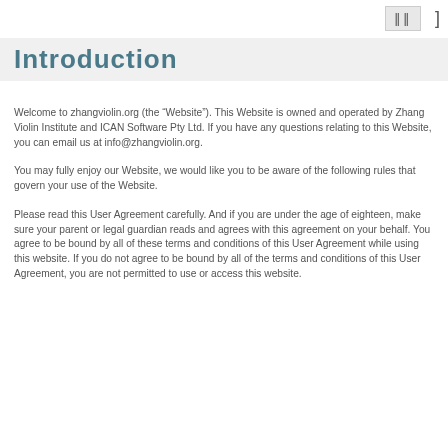|| ]
Introduction
Welcome to zhangviolin.org (the “Website”). This Website is owned and operated by Zhang Violin Institute and ICAN Software Pty Ltd. If you have any questions relating to this Website, you can email us at info@zhangviolin.org.
You may fully enjoy our Website, we would like you to be aware of the following rules that govern your use of the Website.
Please read this User Agreement carefully. And if you are under the age of eighteen, make sure your parent or legal guardian reads and agrees with this agreement on your behalf. You agree to be bound by all of these terms and conditions of this User Agreement while using this website. If you do not agree to be bound by all of the terms and conditions of this User Agreement, you are not permitted to use or access this website.